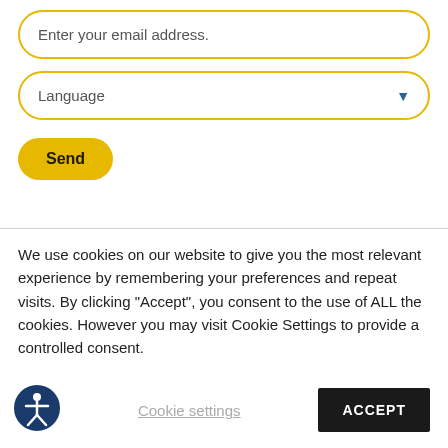Enter your email address.
Language
Send
We use cookies on our website to give you the most relevant experience by remembering your preferences and repeat visits. By clicking "Accept", you consent to the use of ALL the cookies. However you may visit Cookie Settings to provide a controlled consent.
Cookie settings
ACCEPT